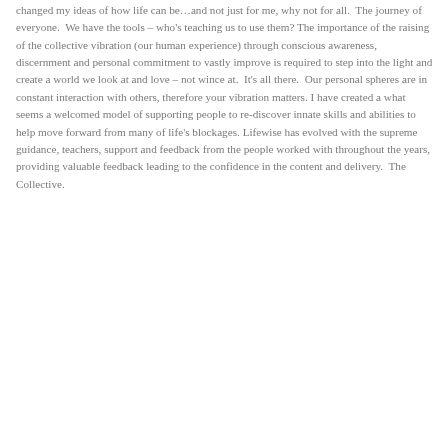changed my ideas of how life can be…and not just for me, why not for all.  The journey of everyone.  We have the tools – who's teaching us to use them? The importance of the raising of the collective vibration (our human experience) through conscious awareness, discernment and personal commitment to vastly improve is required to step into the light and create a world we look at and love – not wince at.  It's all there.  Our personal spheres are in constant interaction with others, therefore your vibration matters. I have created a what seems a welcomed model of supporting people to re-discover innate skills and abilities to help move forward from many of life's blockages. Lifewise has evolved with the supreme guidance, teachers, support and feedback from the people worked with throughout the years, providing valuable feedback leading to the confidence in the content and delivery.  The Collective.